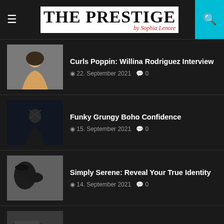THE PRESTIGE by Sophia Lenore
Curls Poppin: Willina Rodriguez Interview
22. September 2021  0
Funky Grungy Boho Confidence
15. September 2021  0
Simply Serene: Reveal Your True Identity
14. September 2021  0
BLACK MAFIA FAMILY Interview
14. September 2021  0